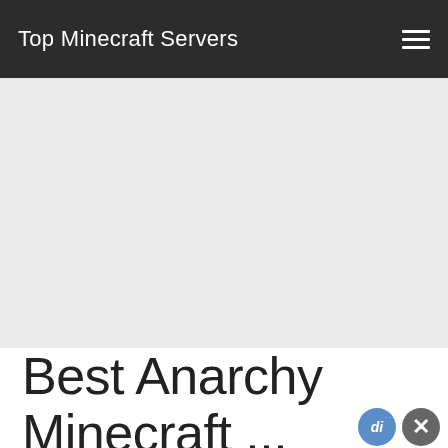Top Minecraft Servers
[Figure (other): Gray advertisement banner placeholder area]
Best Anarchy Minecraft ...
Top Minecraft Servers lists some of the Best Anarchy Minecraft Servers on the web to play on. Browse down our list and discover an incredible selection of servers until you find one that appears to be ideal for you! Click on a server to learn more about it, or just